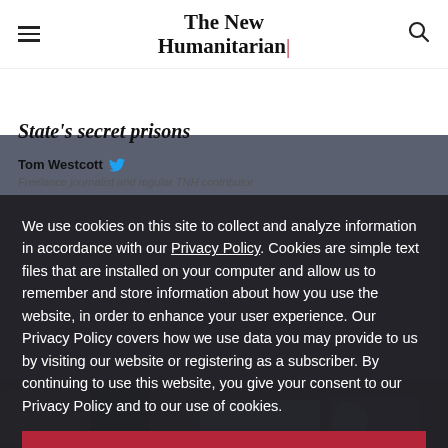The New Humanitarian
State's secret prisons
Tom Westcott
Freelance journalist and regular TNH contributor
We use cookies on this site to collect and analyze information in accordance with our Privacy Policy. Cookies are simple text files that are installed on your computer and allow us to remember and store information about how you use the website, in order to enhance your user experience. Our Privacy Policy covers how we use data you may provide to us by visiting our website or registering as a subscriber. By continuing to use this website, you give your consent to our Privacy Policy and to our use of cookies.
OK, I agree
[Figure (photo): Bottom strip showing a darkened photo, partially visible beneath the cookie consent modal]